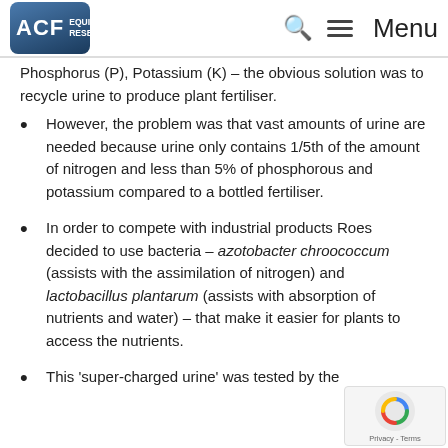ACF Equity Research — navigation header with logo, search icon, hamburger menu, and Menu text
letters and portalen manager describing how expensive and difficult it was to dispose of the urine collected from the portalu...
...has many useful nutrients used in fertilisers – Nitrogen (N), Phosphorus (P), Potassium (K) – the obvious solution was to recycle urine to produce plant fertiliser.
However, the problem was that vast amounts of urine are needed because urine only contains 1/5th of the amount of nitrogen and less than 5% of phosphorous and potassium compared to a bottled fertiliser.
In order to compete with industrial products Roes decided to use bacteria – azotobacter chroococcum (assists with the assimilation of nitrogen) and lactobacillus plantarum (assists with absorption of nutrients and water) – that make it easier for plants to access the nutrients.
This 'super-charged urine' was tested by the...